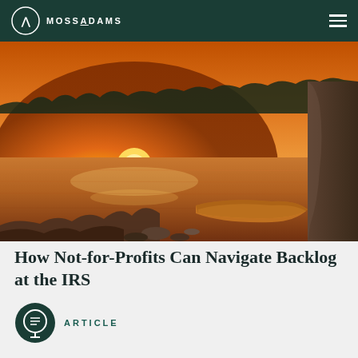MOSSADAMS
[Figure (photo): Scenic sunset over a calm lake with an orange canoe resting near a rocky shore and silhouetted treeline in the background]
How Not-for-Profits Can Navigate Backlog at the IRS
ARTICLE